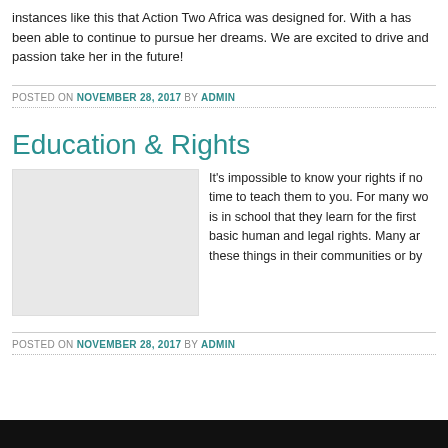instances like this that Action Two Africa was designed for. With a has been able to continue to pursue her dreams. We are excited to drive and passion take her in the future!
POSTED ON NOVEMBER 28, 2017 BY ADMIN
Education & Rights
[Figure (photo): Light gray placeholder image for Education & Rights article]
It's impossible to know your rights if no time to teach them to you. For many w is in school that they learn for the first basic human and legal rights. Many a these things in their communities or b
POSTED ON NOVEMBER 28, 2017 BY ADMIN